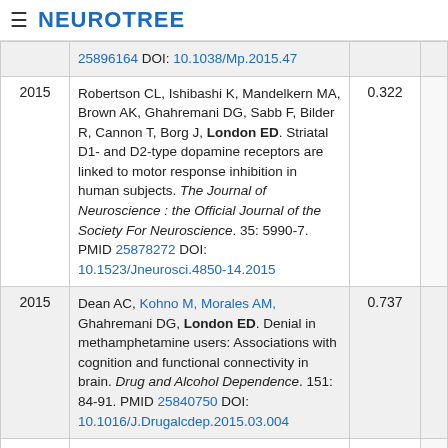≡ NEUROTREE
| Year | Reference | Score |  |
| --- | --- | --- | --- |
|  | 25896164 DOI: 10.1038/Mp.2015.47 |  |  |
| 2015 | Robertson CL, Ishibashi K, Mandelkern MA, Brown AK, Ghahremani DG, Sabb F, Bilder R, Cannon T, Borg J, London ED. Striatal D1- and D2-type dopamine receptors are linked to motor response inhibition in human subjects. The Journal of Neuroscience : the Official Journal of the Society For Neuroscience. 35: 5990-7. PMID 25878272 DOI: 10.1523/Jneurosci.4850-14.2015 | 0.322 |  |
| 2015 | Dean AC, Kohno M, Morales AM, Ghahremani DG, London ED. Denial in methamphetamine users: Associations with cognition and functional connectivity in brain. Drug and Alcohol Dependence. 151: 84-91. PMID 25840750 DOI: 10.1016/J.Drugalcdep.2015.03.004 | 0.737 |  |
| 2015 | Ray LA, Bujarski S, Courtney KE, Moallem NR, Lunny K, Roche D, Leventhal AM, Shoptaw S, Heinzerling K, London ED, Miotto K. The Effects | 0.324 |  |